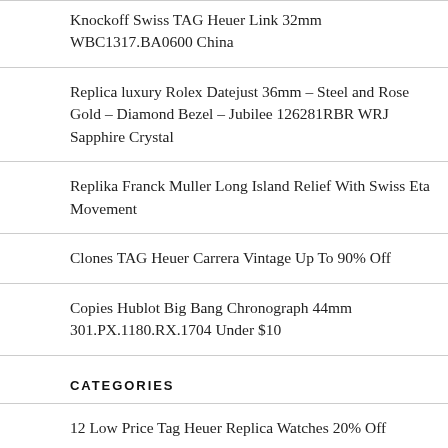Knockoff Swiss TAG Heuer Link 32mm WBC1317.BA0600 China
Replica luxury Rolex Datejust 36mm – Steel and Rose Gold – Diamond Bezel – Jubilee 126281RBR WRJ Sapphire Crystal
Replika Franck Muller Long Island Relief With Swiss Eta Movement
Clones TAG Heuer Carrera Vintage Up To 90% Off
Copies Hublot Big Bang Chronograph 44mm 301.PX.1180.RX.1704 Under $10
CATEGORIES
12 Low Price Tag Heuer Replica Watches 20% Off